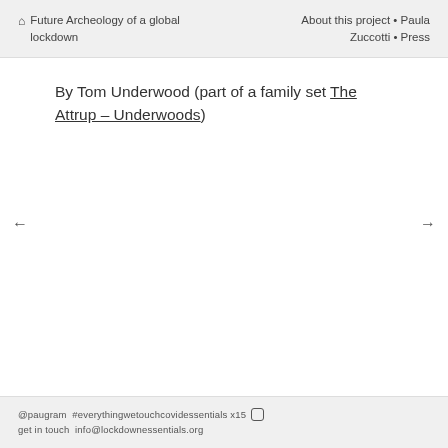🏠 Future Archeology of a global lockdown   About this project • Paula Zuccotti • Press
By Tom Underwood (part of a family set The Attrup – Underwoods)
@paugram  #everythingwetouchcovidessentials x15  [instagram icon]
get in touch info@lockdownessentials.org